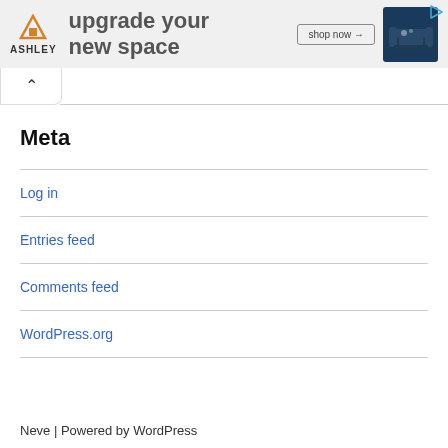[Figure (other): Ashley Furniture advertisement banner showing logo, 'upgrade your new space' tagline, shop now button, and sofa image]
Meta
Log in
Entries feed
Comments feed
WordPress.org
Neve | Powered by WordPress